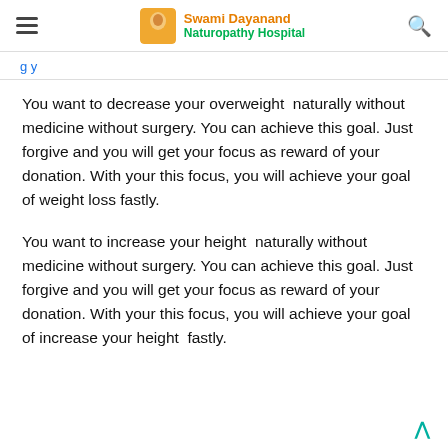Swami Dayanand Naturopathy Hospital
g y
You want to decrease your overweight  naturally without medicine without surgery. You can achieve this goal. Just forgive and you will get your focus as reward of your donation. With your this focus, you will achieve your goal of weight loss fastly.
You want to increase your height  naturally without medicine without surgery. You can achieve this goal. Just forgive and you will get your focus as reward of your donation. With your this focus, you will achieve your goal of increase your height  fastly.